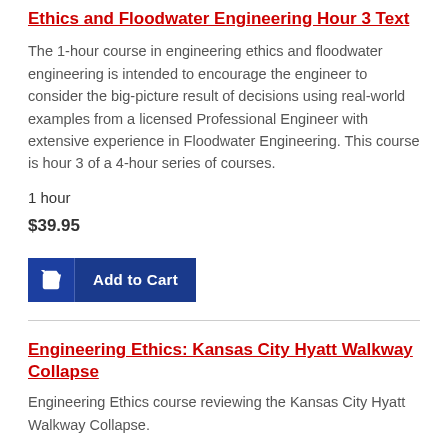Ethics and Floodwater Engineering Hour 3 Text
The 1-hour course in engineering ethics and floodwater engineering is intended to encourage the engineer to consider the big-picture result of decisions using real-world examples from a licensed Professional Engineer with extensive experience in Floodwater Engineering. This course is hour 3 of a 4-hour series of courses.
1 hour
$39.95
[Figure (other): Add to Cart button with shopping cart icon]
Engineering Ethics: Kansas City Hyatt Walkway Collapse
Engineering Ethics course reviewing the Kansas City Hyatt Walkway Collapse.
1 hour